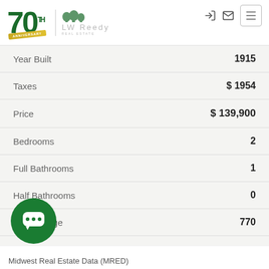[Figure (logo): LW Reedy Real Estate 70th Anniversary logo with green 70 and ribbon]
| Property Detail | Value |
| --- | --- |
| Year Built | 1915 |
| Taxes | $ 1954 |
| Price | $ 139,900 |
| Bedrooms | 2 |
| Full Bathrooms | 1 |
| Half Bathrooms | 0 |
| Sqr Footage | 770 |
Midwest Real Estate Data (MRED)